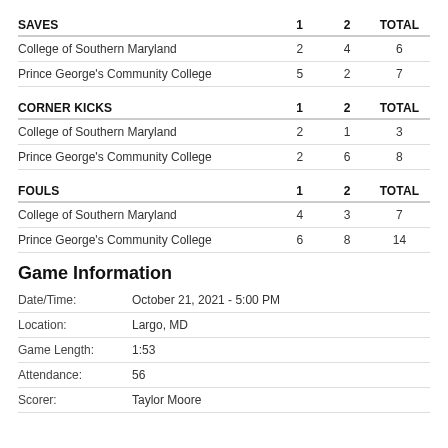| SAVES | 1 | 2 | TOTAL |
| --- | --- | --- | --- |
| College of Southern Maryland | 2 | 4 | 6 |
| Prince George's Community College | 5 | 2 | 7 |
| CORNER KICKS | 1 | 2 | TOTAL |
| --- | --- | --- | --- |
| College of Southern Maryland | 2 | 1 | 3 |
| Prince George's Community College | 2 | 6 | 8 |
| FOULS | 1 | 2 | TOTAL |
| --- | --- | --- | --- |
| College of Southern Maryland | 4 | 3 | 7 |
| Prince George's Community College | 6 | 8 | 14 |
Game Information
|  |  |
| --- | --- |
| Date/Time: | October 21, 2021 - 5:00 PM |
| Location: | Largo, MD |
| Game Length: | 1:53 |
| Attendance: | 56 |
| Scorer: | Taylor Moore |